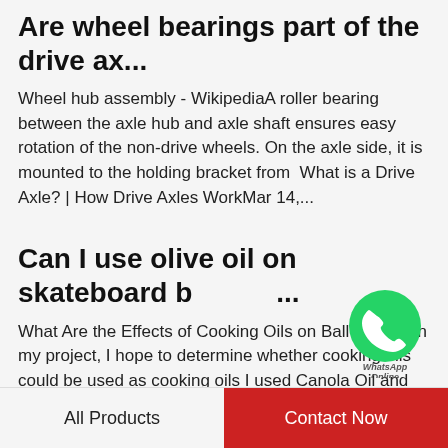Are wheel bearings part of the drive ax...
Wheel hub assembly - WikipediaA roller bearing between the axle hub and axle shaft ensures easy rotation of the non-drive wheels. On the axle side, it is mounted to the holding bracket from  What is a Drive Axle? | How Drive Axles WorkMar 14,...
Can I use olive oil on skateboard b...
What Are the Effects of Cooking Oils on Ball BearingIn my project, I hope to determine whether cooking oils could be used as cooking oils I used Canola Oil and Olive Oil. My Mineral oil was the control group. For my tests, I put all three of the oils...
[Figure (logo): WhatsApp green circle logo with phone icon and 'WhatsApp Online' text overlay]
Can you drive with a messed up wheel ...
All Products | Contact Now